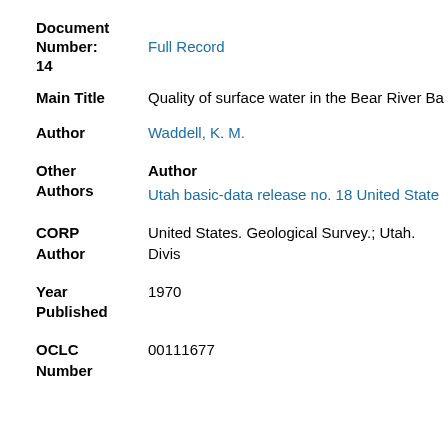Document Number: Full Record 14
Main Title: Quality of surface water in the Bear River Ba
Author: Waddell, K. M.
Other Authors: Author | Utah basic-data release no. 18 United State
CORP Author: United States. Geological Survey.; Utah. Divis
Year Published: 1970
OCLC Number: 00111677